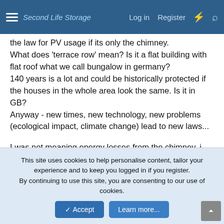Second Life Storage | Log in | Register
the law for PV usage if its only the chimney.
What does 'terrace row' mean? Is it a flat building with flat roof what we call bungalow in germany?
140 years is a lot and could be historically protected if the houses in the whole area look the same. Is it in GB?
Anyway - new times, new technology, new problems (ecological impact, climate change) lead to new laws...

I was not meaning energy losses from the chimney, i meant to say we have to use ecological technology to protect the climate...
If local laws prohibit or only slows down use of PV, we cant achieve a climate change.
This site uses cookies to help personalise content, tailor your experience and to keep you logged in if you register.
By continuing to use this site, you are consenting to our use of cookies.